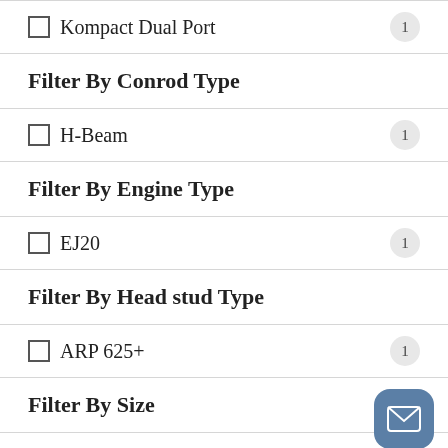Kompact Dual Port — 1
Filter By Conrod Type
H-Beam — 1
Filter By Engine Type
EJ20 — 1
Filter By Head stud Type
ARP 625+ — 1
Filter By Size
10mm — 1